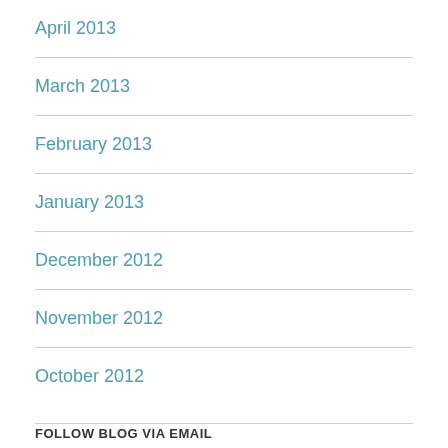April 2013
March 2013
February 2013
January 2013
December 2012
November 2012
October 2012
FOLLOW BLOG VIA EMAIL